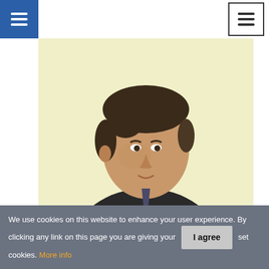Navigation bar with hamburger menus
[Figure (photo): Headshot of a man in a suit with dark hair, photographed against a pale yellow background, looking slightly to the side with a neutral expression.]
Securing Success: The Future of Commercial Banking
Jay Poole, SVP-Commercial Banking, SunTrust
We use cookies on this website to enhance your user experience. By clicking any link on this page you are giving your  set cookies. More info